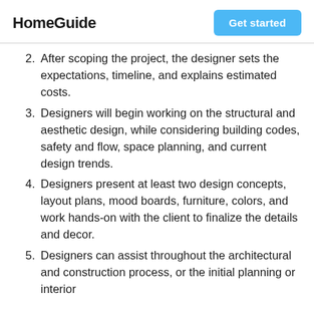HomeGuide | Get started
2. After scoping the project, the designer sets the expectations, timeline, and explains estimated costs.
3. Designers will begin working on the structural and aesthetic design, while considering building codes, safety and flow, space planning, and current design trends.
4. Designers present at least two design concepts, layout plans, mood boards, furniture, colors, and work hands-on with the client to finalize the details and decor.
5. Designers can assist throughout the architectural and construction process, or the initial planning or interior